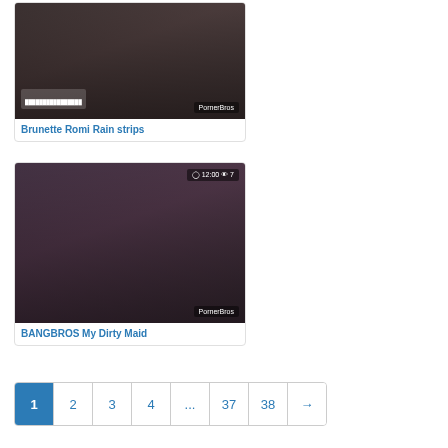[Figure (photo): Video thumbnail card for 'Brunette Romi Rain strips' with PornerBros watermark]
Brunette Romi Rain strips
[Figure (photo): Video thumbnail card for 'BANGBROS My Dirty Maid' with time badge 12:00 and view count 7, PornerBros watermark]
BANGBROS My Dirty Maid
1
2
3
4
...
37
38
→